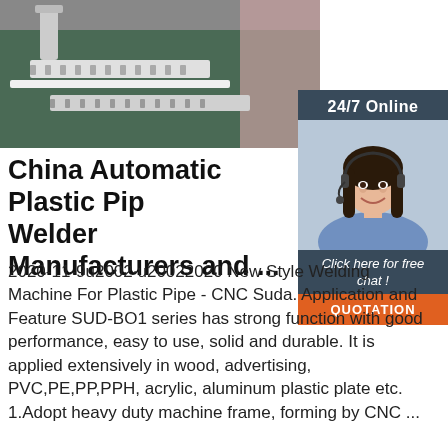[Figure (photo): Industrial machinery/conveyor belt in a factory setting, overhead view showing rolling conveyor tracks]
[Figure (photo): 24/7 Online customer service representative - woman with headset smiling, with orange QUOTATION button and 'Click here for free chat!' text]
China Automatic Plastic Pipe Welder Manufacturers and ...
2020-11-9u2002·u20022020 New Style Welding Machine For Plastic Pipe - CNC Suda. Application and Feature SUD-BO1 series has strong function with good performance, easy to use, solid and durable. It is applied extensively in wood, advertising, PVC,PE,PP,PPH, acrylic, aluminum plastic plate etc. 1.Adopt heavy duty machine frame, forming by CNC ...